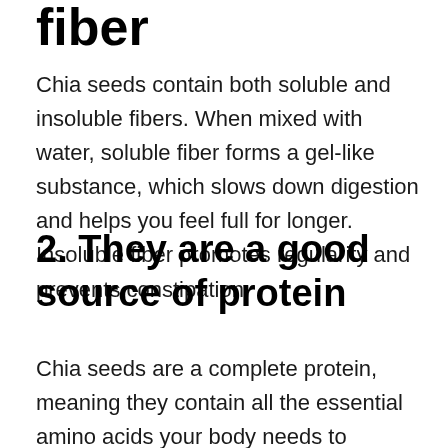fiber
Chia seeds contain both soluble and insoluble fibers. When mixed with water, soluble fiber forms a gel-like substance, which slows down digestion and helps you feel full for longer. Insoluble fiber promotes regularity and prevents constipation.
2. They are a good source of protein
Chia seeds are a complete protein, meaning they contain all the essential amino acids your body needs to function correctly. Just one ounce (28 grams) of chia seeds contains 4 grams of protein.